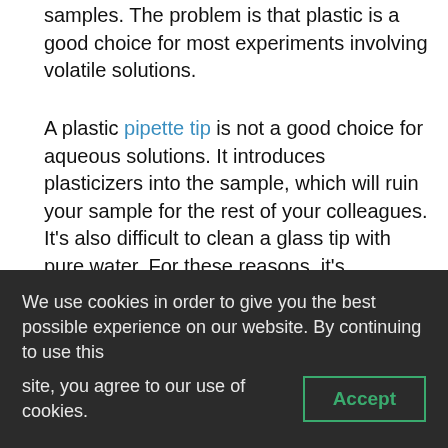samples. The problem is that plastic is a good choice for most experiments involving volatile solutions.
A plastic pipette tip is not a good choice for aqueous solutions. It introduces plasticizers into the sample, which will ruin your sample for the rest of your colleagues. It's also difficult to clean a glass tip with pure water. For these reasons, it's recommended to use a glass pipette tip.
Using a glass pipette tip is the preferred method. In contrast, a plastic pipette tip is not recommended for DMSO. The plastic pipette tip
We use cookies in order to give you the best possible experience on our website. By continuing to use this site, you agree to our use of cookies.
Accept